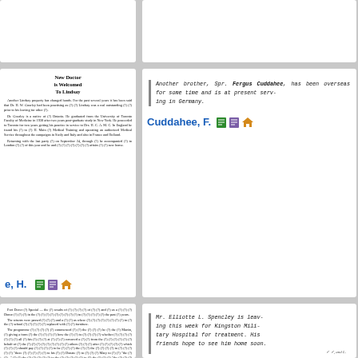New Doctor is Welcomed To Lindsay
Another brother, Spr. Fergus Cuddahee, has been overseas for some time and is at present serving in Germany.
Cuddahee, F.
Mr. Elliotte L. Spencley is leaving this week for Kingston Military Hospital for treatment. His friends hope to see him home soon.
Spenceley, E.